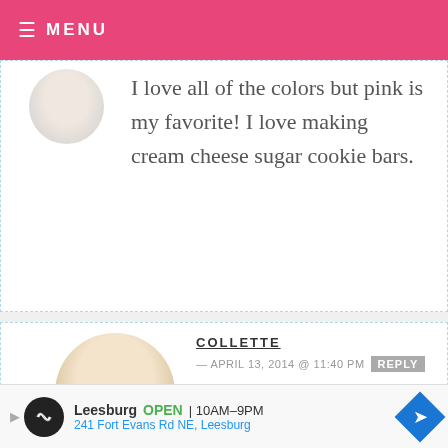MENU
I love all of the colors but pink is my favorite! I love making cream cheese sugar cookie bars.
COLLETTE — APRIL 13, 2014 @ 11:40 PM  REPLY
Ice! I look forward to baking some healthy muffins and granola bars soon!
Leesburg  OPEN  10AM–9PM  241 Fort Evans Rd NE, Leesburg